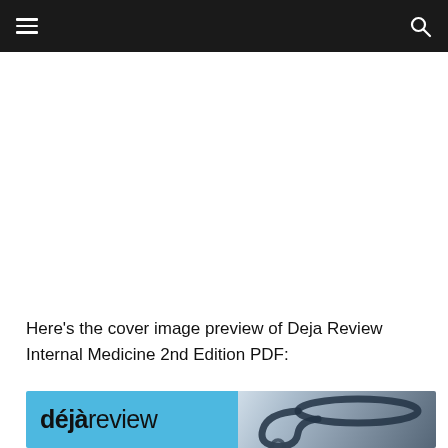Here's the cover image preview of Deja Review Internal Medicine 2nd Edition PDF:
[Figure (photo): Cover image of Deja Review book showing the 'déjàreview' logo in blue on the left and a stethoscope photograph on the right]